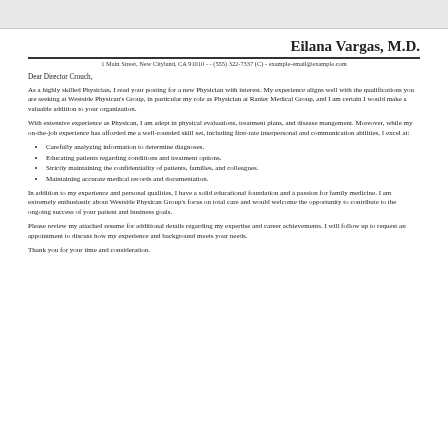Eilana Vargas, M.D.
1 Main Street, New Cityland, CA 91010 - - (555) 322-7337 (C) - example-email@example.com
Dear Director Crouch,
As a highly skilled Physician, I read your posting for a new Physician with interest. My experience aligns well with the qualifications you are seeking at Westside Physican's Group, in particular my role as Physician at Ranier Medical Group, and I am certain I would make a valuable addition to your organization.
With extensive experience as Physican, I am adept in physical evaluations, treatment plans, and disease mangement. Moreover, while my on-the-job experience has afforded me a well-rounded skill set, including first-rate interpersonal and communication abilities, I excel at:
Carefully analyzing information to determine diagnoses.
Educating patients regarding conditions and treatment options.
Strictly maintaining the confidentiality of patients, families, and colleagues.
Maintaining accurate medical records and documentation.
In addition to my experience and personal qualities, I have a solid educational foundation and a passion for family medicine. I am extremely enthusiastic about Westside Physican Group's focus on total care and would welcome the opportunity to contribute to the ongoing success of your patient and business goals.
Please review my attached resume for additional details regarding my expertise and career achievements. I will follow up to request an appointment to discuss how my experience and background meets your needs.
Thank you for your time and consideration.